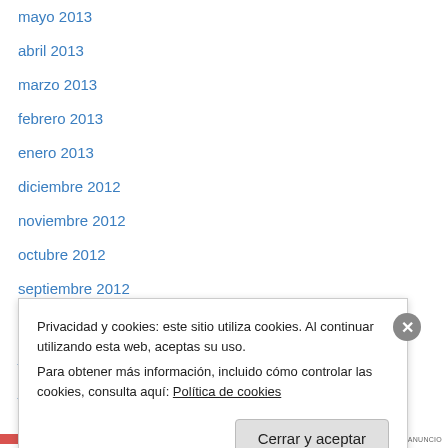mayo 2013
abril 2013
marzo 2013
febrero 2013
enero 2013
diciembre 2012
noviembre 2012
octubre 2012
septiembre 2012
agosto 2012
julio 2012
junio 2012
mayo 2012
abril 2012
Privacidad y cookies: este sitio utiliza cookies. Al continuar utilizando esta web, aceptas su uso.
Para obtener más información, incluido cómo controlar las cookies, consulta aquí: Política de cookies
Cerrar y aceptar
INFORMA SOBRE ESTE ANUNCIO